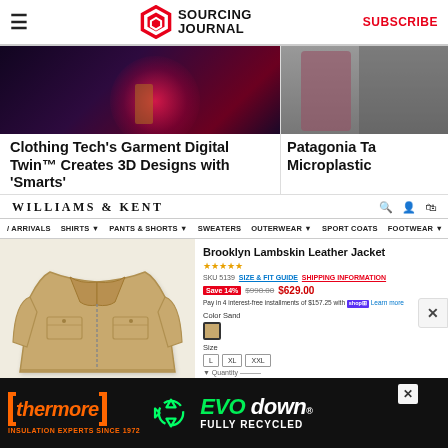Sourcing Journal — SUBSCRIBE
[Figure (screenshot): News article card: dark purple image with red light burst, titled 'Clothing Tech's Garment Digital Twin™ Creates 3D Designs with Smarts']
Clothing Tech's Garment Digital Twin™ Creates 3D Designs with 'Smarts'
[Figure (screenshot): News article card: person with bag, partially visible, titled 'Patagonia Ta... Microplastic...']
Patagonia Ta Microplastic
[Figure (screenshot): Williams & Kent e-commerce page showing Brooklyn Lambskin Leather Jacket product listing with tan leather jacket image, pricing $629.00 (was $998.00, Save 14%), color Sand, sizes L XL XXL]
Brooklyn Lambskin Leather Jacket
[Figure (advertisement): Thermore EVO down Fully Recycled advertisement banner on black background]